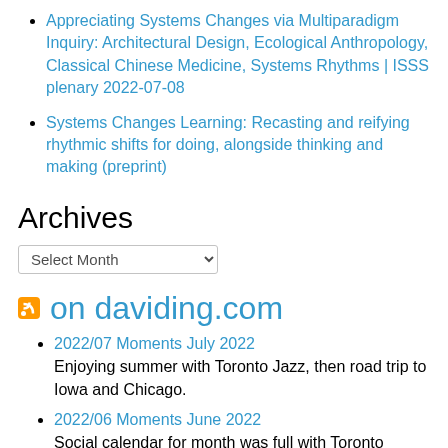Appreciating Systems Changes via Multiparadigm Inquiry: Architectural Design, Ecological Anthropology, Classical Chinese Medicine, Systems Rhythms | ISSS plenary 2022-07-08
Systems Changes Learning: Recasting and reifying rhythmic shifts for doing, alongside thinking and making (preprint)
Archives
Select Month
on daviding.com
2022/07 Moments July 2022
Enjoying summer with Toronto Jazz, then road trip to Iowa and Chicago.
2022/06 Moments June 2022
Social calendar for month was full with Toronto Biennal of Art, Luminato, Taste of Little Italy and